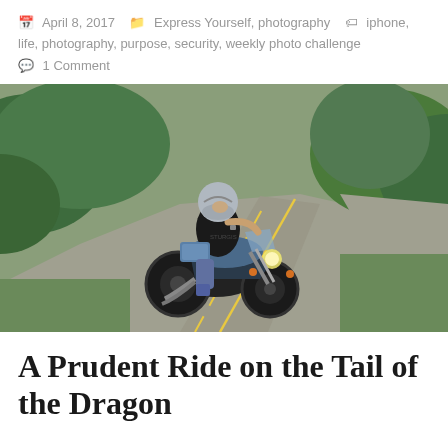April 8, 2017 | Express Yourself, photography | iphone, life, photography, purpose, security, weekly photo challenge | 1 Comment
[Figure (photo): A motorcyclist in a black t-shirt and silver helmet riding a blue cruiser motorcycle on a winding road, with green trees and grass on the sides]
A Prudent Ride on the Tail of the Dragon